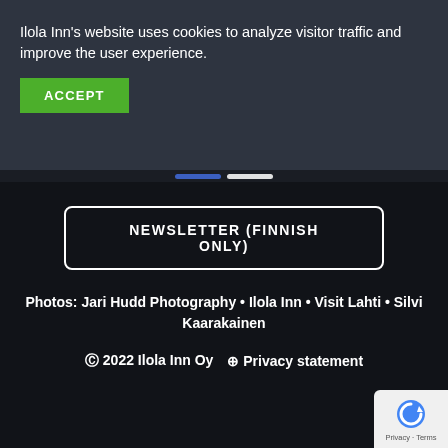Ilola Inn's website uses cookies to analyze visitor traffic and improve the user experience.
ACCEPT
NEWSLETTER (FINNISH ONLY)
Photos: Jari Hudd Photography • Ilola Inn • Visit Lahti • Silvi Kaarakainen
© 2022 Ilola Inn Oy  ⊕ Privacy statement
[Figure (logo): reCAPTCHA badge with blue recycling-arrow logo and Privacy - Terms text]